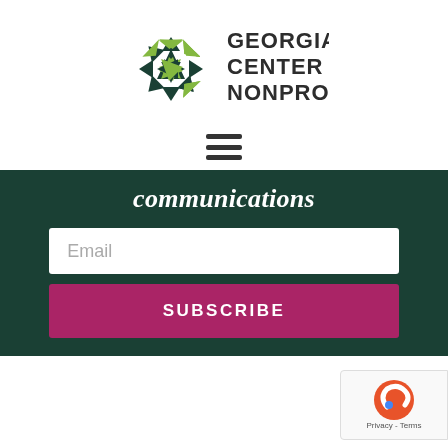[Figure (logo): Georgia Center for Nonprofits logo with star-burst green and dark teal geometric icon and text]
[Figure (other): Hamburger menu icon with three horizontal lines]
communications
Email
SUBSCRIBE
Share This Post